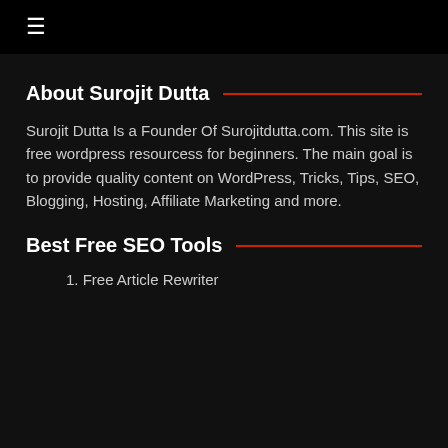☰
About Surojit Dutta
Surojit Dutta Is a Founder Of Surojitdutta.com. This site is free wordpress resourcess for beginners. The main goal is to provide quality content on WordPress, Tricks, Tips, SEO, Blogging, Hosting, Affiliate Marketing and more.
Best Free SEO Tools
1. Free Article Rewriter